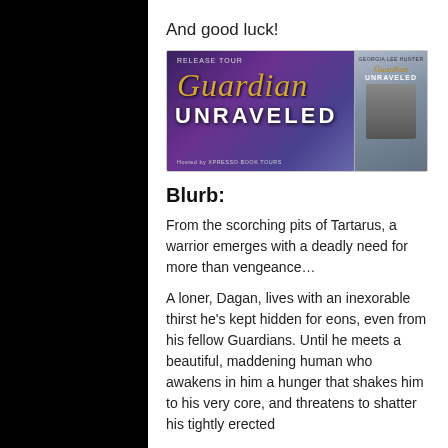And good luck!
[Figure (illustration): Book release tour banner for 'Guardian Unraveled' by Georgia Lee Hunter, showing stylized title text in gold and white on a purple/blue background with a book cover image on the right side.]
Blurb:
From the scorching pits of Tartarus, a warrior emerges with a deadly need for more than vengeance…
A loner, Dagan, lives with an inexorable thirst he's kept hidden for eons, even from his fellow Guardians. Until he meets a beautiful, maddening human who awakens in him a hunger that shakes him to his very core, and threatens to shatter his tightly erected